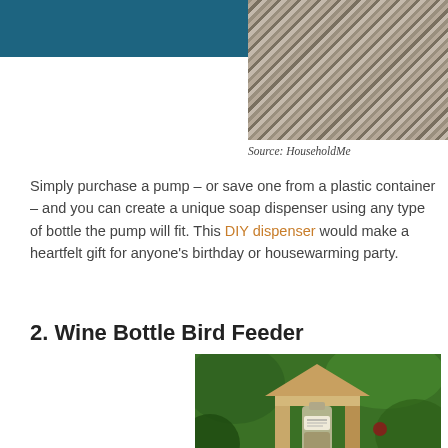[Figure (photo): Top navigation bar with teal/dark blue background and hamburger menu icon in upper right]
[Figure (photo): Photo of gravel or stones, cropped at top of page]
Source: HouseholdMe
Simply purchase a pump – or save one from a plastic container – and you can create a unique soap dispenser using any type of bottle the pump will fit. This DIY dispenser would make a heartfelt gift for anyone's birthday or housewarming party.
2. Wine Bottle Bird Feeder
[Figure (photo): Photo of a wine bottle bird feeder made with a wooden house-shaped frame holding a glass bottle filled with bird seed, set against green leafy foliage background]